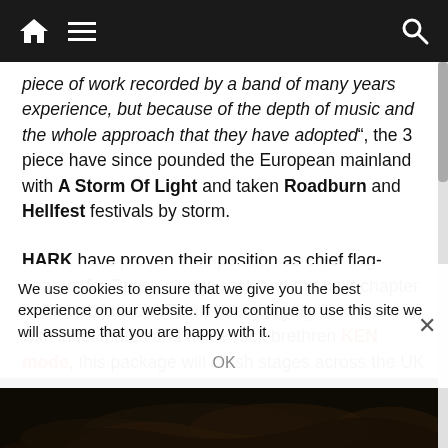Navigation bar with home, menu, and search icons
piece of work recorded by a band of many years experience, but because of the depth of music and the whole approach that they have adopted", the 3 piece have since pounded the European mainland with A Storm Of Light and taken Roadburn and Hellfest festivals by storm.
HARK have proven their position as chief flag-bearers for British sludge rock and the next chapter in Jimbob Isaac's (Taint) heavy legacy is to team up with label mates and noise rock brethren KEN mode, this package will crush stages across the UK and Europe beginning 29th September in Amsterdam and culminating in
We use cookies to ensure that we give you the best experience on our website. If you continue to use this site we will assume that you are happy with it.
[Figure (photo): Dark image with swirling artistic design at the bottom of the page]